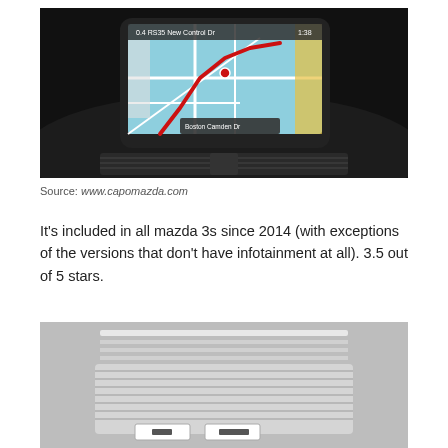[Figure (photo): Mazda infotainment center console screen showing GPS navigation map with a red route line, surrounded by dark car interior with air vents below]
Source: www.capomazda.com
It's included in all mazda 3s since 2014 (with exceptions of the versions that don't have infotainment at all). 3.5 out of 5 stars.
[Figure (photo): Partially visible photo of what appears to be a white/grey plastic car part or panel with ridges and small rectangular cutouts]